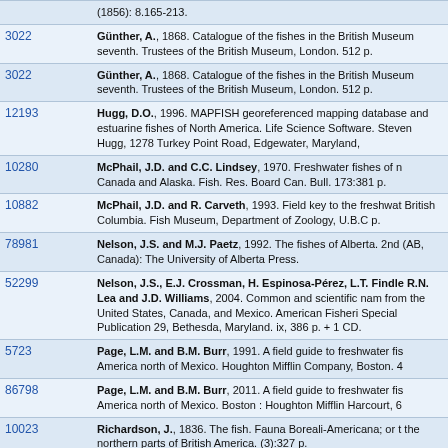| ID | Reference |
| --- | --- |
|  | (1856): 8.165-213. |
| 3022 | Günther, A., 1868. Catalogue of the fishes in the British Museum seventh. Trustees of the British Museum, London. 512 p. |
| 3022 | Günther, A., 1868. Catalogue of the fishes in the British Museum seventh. Trustees of the British Museum, London. 512 p. |
| 12193 | Hugg, D.O., 1996. MAPFISH georeferenced mapping database and estuarine fishes of North America. Life Science Software. Steven Hugg, 1278 Turkey Point Road, Edgewater, Maryland, |
| 10280 | McPhail, J.D. and C.C. Lindsey, 1970. Freshwater fishes of n Canada and Alaska. Fish. Res. Board Can. Bull. 173:381 p. |
| 10882 | McPhail, J.D. and R. Carveth, 1993. Field key to the freshwat British Columbia. Fish Museum, Department of Zoology, U.B.C p. |
| 78981 | Nelson, J.S. and M.J. Paetz, 1992. The fishes of Alberta. 2nd (AB, Canada): The University of Alberta Press. |
| 52299 | Nelson, J.S., E.J. Crossman, H. Espinosa-Pérez, L.T. Findle R.N. Lea and J.D. Williams, 2004. Common and scientific nam from the United States, Canada, and Mexico. American Fisheri Special Publication 29, Bethesda, Maryland. ix, 386 p. + 1 CD. |
| 5723 | Page, L.M. and B.M. Burr, 1991. A field guide to freshwater fi America north of Mexico. Houghton Mifflin Company, Boston. 4 |
| 86798 | Page, L.M. and B.M. Burr, 2011. A field guide to freshwater fi America north of Mexico. Boston : Houghton Mifflin Harcourt, 6 |
| 10023 | Richardson, J., 1836. The fish. Fauna Boreali-Americana; or t the northern parts of British America. (3):327 p. |
| 78809 | Richardson, J.S., T.J. Lissimore, M.C. Healey and T.G. Nort Fish communities of the lower Fraser River (Canada) and a 21 |